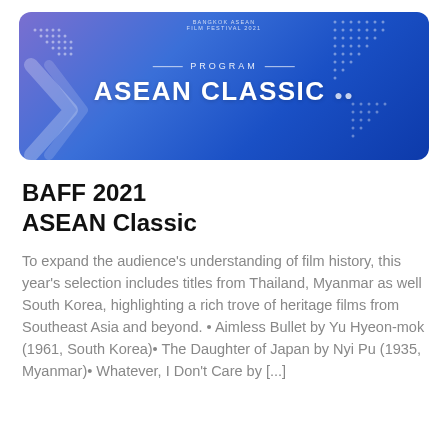[Figure (illustration): Bangkok ASEAN Film Festival 2021 banner with blue/purple gradient background, decorative dot patterns, stylized arrow/chevron shape on left, text reading 'PROGRAM ASEAN CLASSIC' in white, and small 'BANGKOK ASEAN FILM FESTIVAL 2021' text at top center.]
BAFF 2021 ASEAN Classic
To expand the audience's understanding of film history, this year's selection includes titles from Thailand, Myanmar as well South Korea, highlighting a rich trove of heritage films from Southeast Asia and beyond. • Aimless Bullet by Yu Hyeon-mok (1961, South Korea)• The Daughter of Japan by Nyi Pu (1935, Myanmar)• Whatever, I Don't Care by [...]